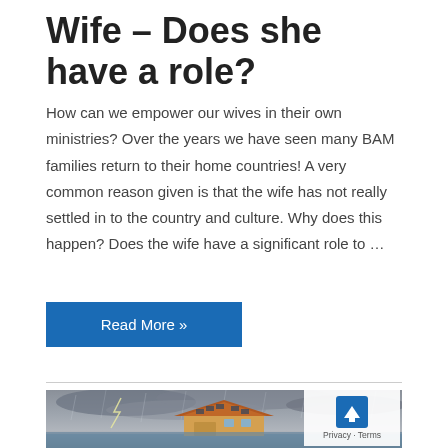Wife – Does she have a role?
How can we empower our wives in their own ministries? Over the years we have seen many BAM families return to their home countries! A very common reason given is that the wife has not really settled in to the country and culture. Why does this happen? Does the wife have a significant role to …
Read More »
[Figure (photo): A house partially submerged in flood water during a heavy storm with lightning and dark storm clouds in the background.]